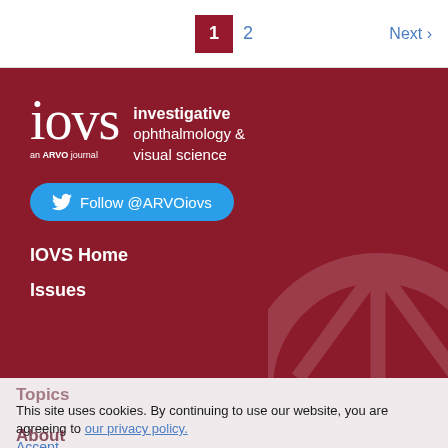1  2  Next ›
[Figure (logo): IOVS - investigative ophthalmology & visual science, an ARVO journal logo on dark red background with Twitter Follow @ARVOiovs button]
IOVS Home
Issues
Topics
This site uses cookies. By continuing to use our website, you are agreeing to our privacy policy. Accept
About